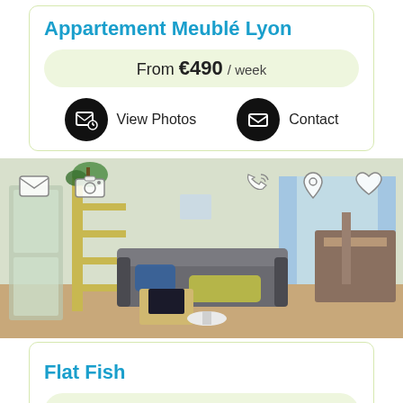Appartement Meublé Lyon
From €490 / week
View Photos   Contact
[Figure (photo): Interior photo of a furnished apartment living room with sofa, bookshelf, plants, and window with blue curtains. Overlay icons: envelope, camera, phone, map pin, heart.]
Flat Fish
From €95 / night
View Photos   Contact